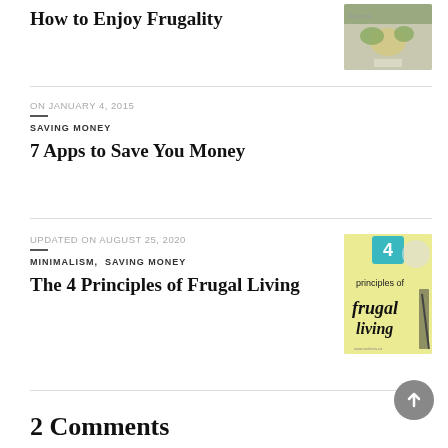How to Enjoy Frugality
[Figure (photo): Thumbnail image for 'How to Enjoy Frugality' article showing plants/lemons on a desk]
ON JANUARY 4, 2015
SAVING MONEY
7 Apps to Save You Money
UPDATED ON AUGUST 25, 2020
MINIMALISM,  SAVING MONEY
The 4 Principles of Frugal Living
[Figure (photo): Thumbnail image showing yellow card with text '4 principles of frugal living']
2 Comments